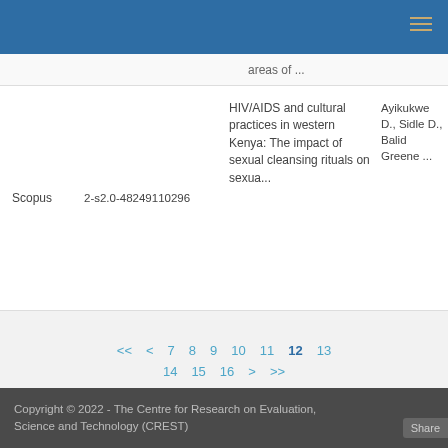Navigation bar with hamburger menu
areas of ...
| Source | ID | Title | Authors |
| --- | --- | --- | --- |
| Scopus | 2-s2.0-48249110296 | HIV/AIDS and cultural practices in western Kenya: The impact of sexual cleansing rituals on sexua... | Ayikukwe D., Sidle D., Balid Greene ... |
<< < 7 8 9 10 11 12 13 14 15 16 > >>
Export: CSV  CSV (HIDDEN COLS)  HTML  JSON  TSV (SPREADSHEETS)  TSV (SPREADSHEETS, HIDDEN COLS)  XML
Copyright © 2022 - The Centre for Research on Evaluation, Science and Technology (CREST)